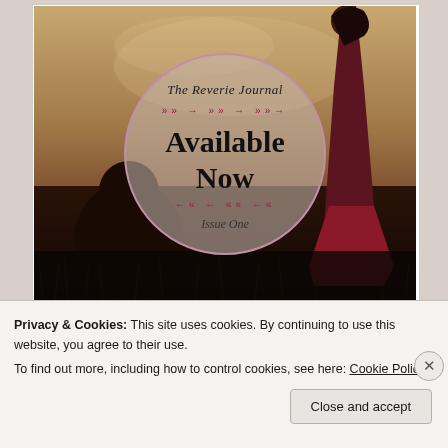[Figure (illustration): Book/magazine cover image for 'The Reverie Journal, Issue One - Available Now'. Shows a moody outdoor scene with a woman in a red dress standing in a field, and a person crouching on the ground. A semi-transparent circle overlay in the center contains the text: 'The Reverie Journal', decorative arrow dividers, 'Available Now', and 'Issue One'.]
Privacy & Cookies: This site uses cookies. By continuing to use this website, you agree to their use.
To find out more, including how to control cookies, see here: Cookie Policy
Close and accept